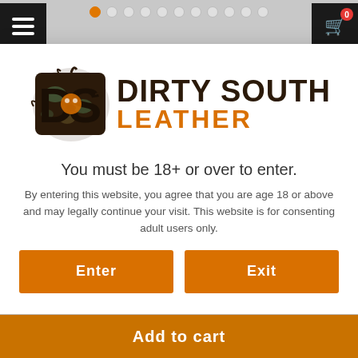[Figure (logo): Dirty South Leather brand logo with DS letters in camo/dark style and orange LEATHER text]
You must be 18+ or over to enter.
By entering this website, you agree that you are age 18 or above and may legally continue your visit. This website is for consenting adult users only.
Enter | Exit (buttons)
Add to cart